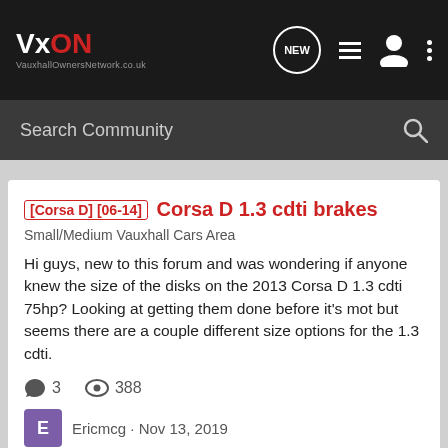VxON VauxhallOwnersNetwork.co.uk
Search Community
[Corsa D] [06-14] Corsa D 1.3 cdti brakes
Small/Medium Vauxhall Cars Area
Hi guys, new to this forum and was wondering if anyone knew the size of the disks on the 2013 Corsa D 1.3 cdti 75hp? Looking at getting them done before it's mot but seems there are a couple different size options for the 1.3 cdti.
3 replies · 388 views
Ericmcg · Nov 13, 2019
1.3 cdti  brake discs  corsa d 1.3cdti